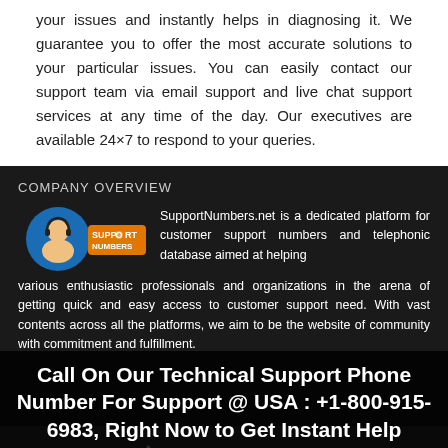your issues and instantly helps in diagnosing it. We guarantee you to offer the most accurate solutions to your particular issues. You can easily contact our support team via email support and live chat support services at any time of the day. Our executives are available 24×7 to respond to your queries.
COMPANY OVERVIEW
[Figure (logo): SupportNumbers.net logo — circular avatar of person with headset on left, orange banner with 'SUPP O RT NUMBERS' text on right]
SupportNumbers.net is a dedicated platform for customer support numbers and telephonic database aimed at helping various enthusiastic professionals and organizations in the arena of getting quick and easy access to customer support need. With vast contents across all the platforms, we aim to be the website of community with commitment and fulfillment.
Call On Our Technical Support Phone Number For Support @ USA : +1-800-915-6983, Right Now to Get Instant Help
Disclaimer : Support Number is an independent provider of remote tech support for third party products. Any use of third party trademarks, brand names, product and ser...